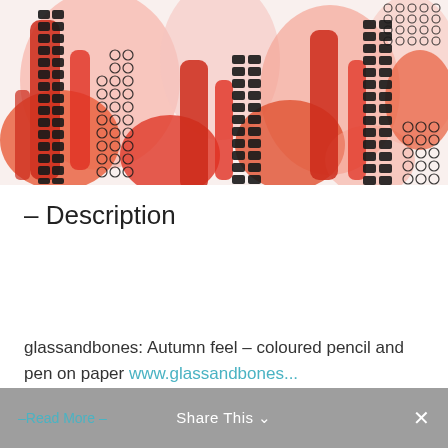[Figure (illustration): Abstract artwork showing bold red/pink brushstrokes with black grid/checkerboard patterns and small open circles on white paper, described as 'Autumn feel' in coloured pencil and pen on paper.]
– Description
glassandbones: Autumn feel – coloured pencil and pen on paper www.glassandbones...
-Read More –   Share This ∨   ×